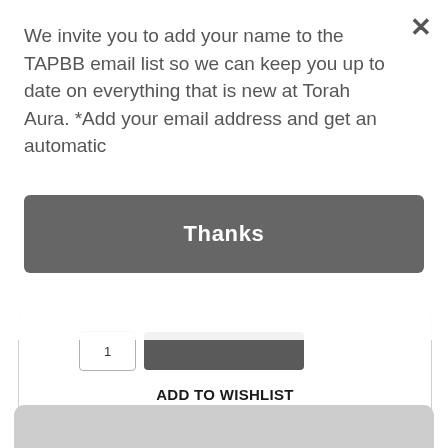We invite you to add your name to the TAPBB email list so we can keep you up to date on everything that is new at Torah Aura. *Add your email address and get an automatic
Thanks
ADD TO WISHLIST
ADD TO COMPARE
[Figure (screenshot): Gray placeholder image area at the bottom of the page]